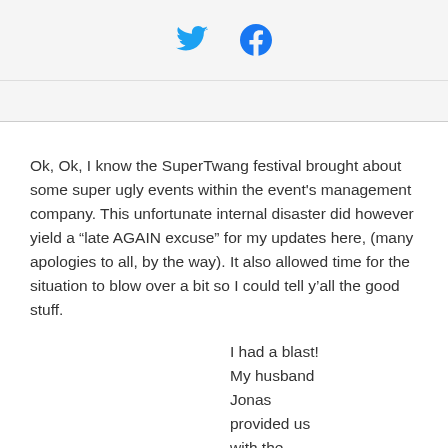[Figure (other): Twitter and Facebook social sharing icons in blue]
Ok, Ok, I know the SuperTwang festival brought about some super ugly events within the event's management company. This unfortunate internal disaster did however yield a “late AGAIN excuse” for my updates here, (many apologies to all, by the way). It also allowed time for the situation to blow over a bit so I could tell y’all the good stuff.
I had a blast! My husband Jonas provided us with the review of the